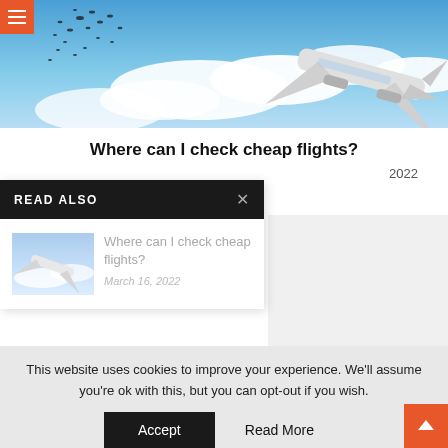[Figure (photo): Airplane flying against a blue sky with clouds, viewed from below, with birds in the upper left corner. Orange hamburger menu icon in top-left corner.]
Where can I check cheap flights?
2022
READ ALSO
[Figure (photo): Small thumbnail of airplane in sky]
Where can I check cheap flights?
March 16, 2022
This website uses cookies to improve your experience. We'll assume you're ok with this, but you can opt-out if you wish.